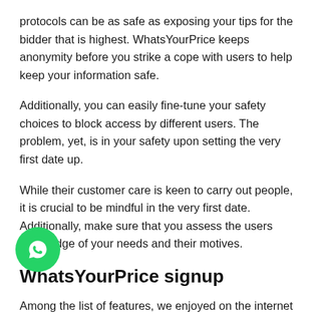protocols can be as safe as exposing your tips for the bidder that is highest. WhatsYourPrice keeps anonymity before you strike a cope with users to help keep your information safe.
Additionally, you can easily fine-tune your safety choices to block access by different users. The problem, yet, is in your safety upon setting the very first date up.
While their customer care is keen to carry out people, it is crucial to be mindful in the very first date. Additionally, make sure that you assess the users knowledge of your needs and their motives.
WhatsYourPrice signup
Among the list of features, we enjoyed on the internet site, had signup process that is fast. After picking the signup option, the application inquired my sex, function on the internet site, and intimate choices.
[Figure (logo): WhatsApp chat button - green circular icon with phone handset symbol]